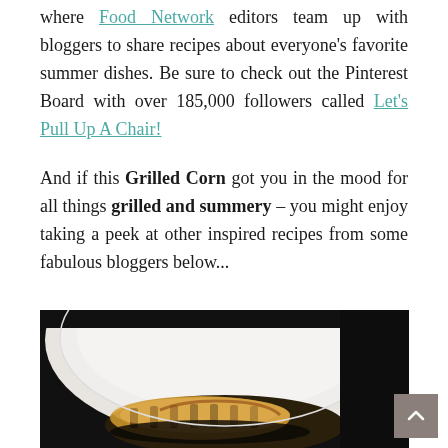where Food Network editors team up with bloggers to share recipes about everyone's favorite summer dishes. Be sure to check out the Pinterest Board with over 185,000 followers called Let's Pull Up A Chair!
And if this Grilled Corn got you in the mood for all things grilled and summery – you might enjoy taking a peek at other inspired recipes from some fabulous bloggers below...
[Figure (photo): Close-up photo of grilled corn on a white plate against a dark background]